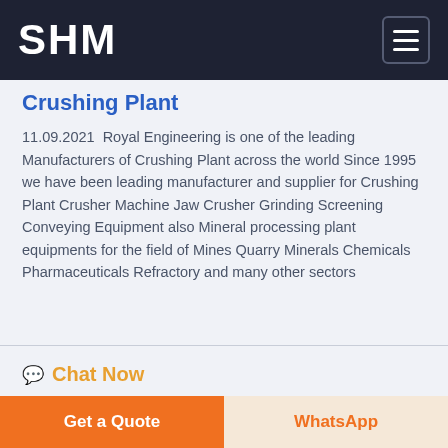SHM
Crushing Plant
11.09.2021  Royal Engineering is one of the leading Manufacturers of Crushing Plant across the world Since 1995 we have been leading manufacturer and supplier for Crushing Plant Crusher Machine Jaw Crusher Grinding Screening Conveying Equipment also Mineral processing plant equipments for the field of Mines Quarry Minerals Chemicals Pharmaceuticals Refractory and many other sectors
Chat Now
Get a Quote
WhatsApp